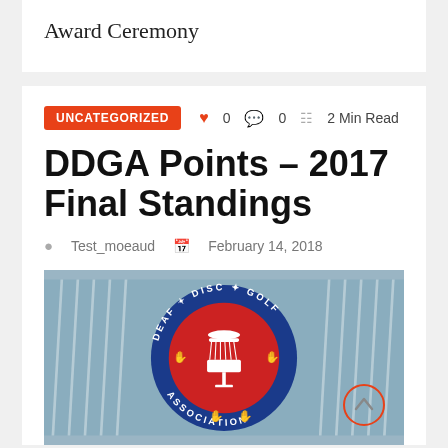Award Ceremony
DDGA Points – 2017 Final Standings
Uncategorized   ♥ 0   💬 0   2 Min Read
Test_moeaud   February 14, 2018
[Figure (photo): Photo of disc golf basket chains with the Deaf Disc Golf Association (DDGA) circular logo overlaid. The logo is a blue and red circle with 'DEAF DISC GOLF ASSOCIATION' text around the edge and a disc golf basket icon in the center.]